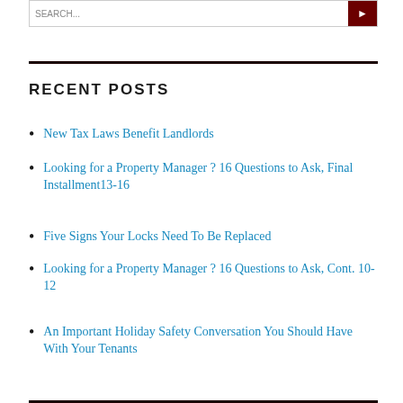[search bar]
RECENT POSTS
New Tax Laws Benefit Landlords
Looking for a Property Manager ? 16 Questions to Ask, Final Installment13-16
Five Signs Your Locks Need To Be Replaced
Looking for a Property Manager ? 16 Questions to Ask, Cont. 10-12
An Important Holiday Safety Conversation You Should Have With Your Tenants